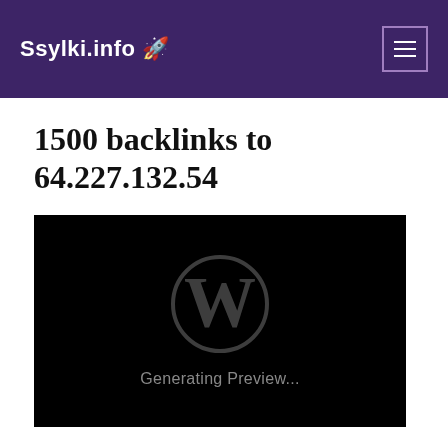Ssylki.info 🚀
1500 backlinks to 64.227.132.54
[Figure (screenshot): Black preview box with WordPress logo (W in circle) and text 'Generating Preview...']